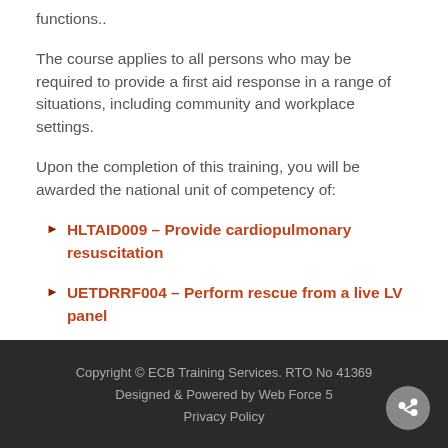functions..
The course applies to all persons who may be required to provide a first aid response in a range of situations, including community and workplace settings.
Upon the completion of this training, you will be awarded the national unit of competency of:
HLTAID009 – Provide cardiopulmonary resuscitation
UETDRRF004 – Perform rescue from a live LV panel
Copyright © ECB Training Services. RTO No 41369
Designed & Powered by Web Force 5
Privacy Policy